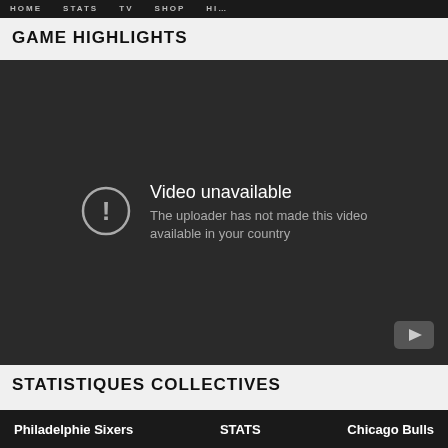HOME  STATS  TV  SHOP  HI…
GAME HIGHLIGHTS
[Figure (screenshot): Embedded YouTube video player showing 'Video unavailable – The uploader has not made this video available in your country' error message on dark background, with YouTube icon in bottom-right corner.]
STATISTIQUES COLLECTIVES
| Philadelphie Sixers | STATS | Chicago Bulls |
| --- | --- | --- |